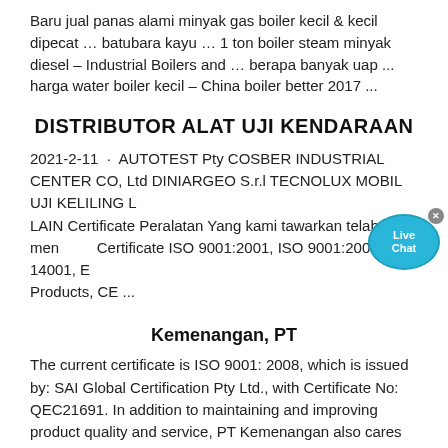Baru jual panas alami minyak gas boiler kecil & kecil dipecat … batubara kayu … 1 ton boiler steam minyak diesel – Industrial Boilers and … berapa banyak uap ... harga water boiler kecil – China boiler better 2017 ...
DISTRIBUTOR ALAT UJI KENDARAAN
2021-2-11 · AUTOTEST Pty COSBER INDUSTRIAL CENTER CO, Ltd DINIARGEO S.r.l TECNOLUX MOBIL UJI KELILING LAN LAIN Certificate Peralatan Yang kami tawarkan telah mendapa Certificate ISO 9001:2001, ISO 9001:2008, ISO 14001, EC Products, CE ...
Kemenangan, PT
The current certificate is ISO 9001: 2008, which is issued by: SAI Global Certification Pty Ltd., with Certificate No: QEC21691. In addition to maintaining and improving product quality and service, PT Kemenangan also cares about health, safety and environment, achieving the following certificates issued also by: SAI Global - Certification Pty Ltd in 2009:
Kawasaki Heavy Industries